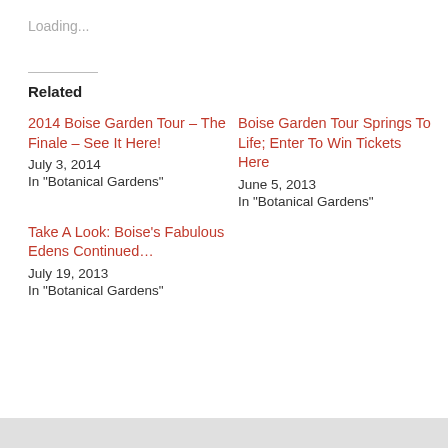Loading...
Related
2014 Boise Garden Tour – The Finale – See It Here!
July 3, 2014
In "Botanical Gardens"
Boise Garden Tour Springs To Life; Enter To Win Tickets Here
June 5, 2013
In "Botanical Gardens"
Take A Look: Boise's Fabulous Edens Continued…
July 19, 2013
In "Botanical Gardens"
Privacy & Cookies: This site uses cookies. By continuing to use this website, you agree to their use.
To find out more, including how to control cookies, see here: Cookie Policy
Close and accept